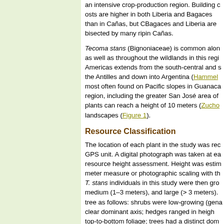an intensive crop-production region. Building costs are higher in both Liberia and Bagaces than in Cañas, but Bagaces and Liberia are bisected by many riparian areas in Cañas.
Tecoma stans (Bignoniaceae) is common along roadsides as well as throughout the wildlands in this region. Its range in the Americas extends from the south-central and southwestern U.S., the Antilles and down into Argentina (Hammel et al. 2004). It is most often found on Pacific slopes in Guanacaste and the Central region, including the greater San José area of Costa Rica. These plants can reach a height of 10 meters (Zuchouvie et al. 2007) in landscapes (Figure 1).
Resource Classification
The location of each plant in the study was recorded using a GPS unit. A digital photograph was taken at each location during resource height assessment. Height was estimated using a measuring meter measure or photographic scaling with the GPS unit. T. stans individuals in this study were then grouped into small (< 1 meter), medium (1–3 meters), and large (> 3 meters). We classified the form of the tree as follows: shrubs were low-growing (generally < 1 meter) without a clear dominant axis; hedges ranged in height and generally had top-to-bottom foliage; trees had a distinct dominant trunk with exposed flowers.